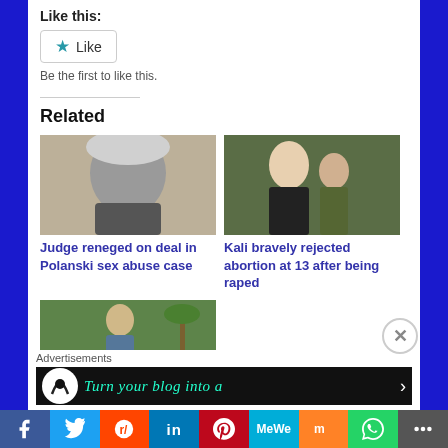Like this:
Like
Be the first to like this.
Related
[Figure (photo): Photo of an elderly man with grey hair – related to Polanski sex abuse case article]
Judge reneged on deal in Polanski sex abuse case
[Figure (photo): Photo of a woman with a young child – related to Kali abortion article]
Kali bravely rejected abortion at 13 after being raped
[Figure (photo): Photo of a person outdoors near palm trees]
Advertisements
Turn your blog into a
Facebook Twitter Reddit LinkedIn Pinterest MeWe Mix WhatsApp More